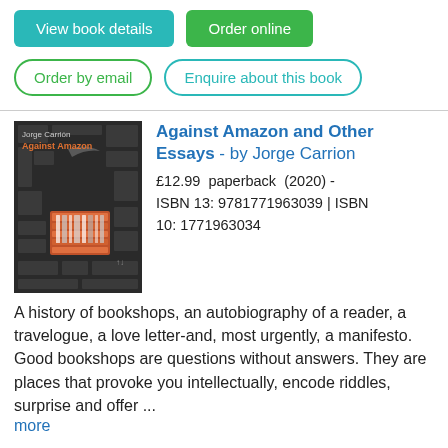[Figure (other): Teal 'View book details' button and green 'Order online' button]
[Figure (other): Green outline 'Order by email' button and teal outline 'Enquire about this book' button]
[Figure (illustration): Book cover for 'Against Amazon' by Jorge Carrion, dark background with abstract bookshop graphic and orange/white shelves]
Against Amazon and Other Essays - by Jorge Carrion
£12.99  paperback  (2020) - ISBN 13: 9781771963039 | ISBN 10: 1771963034
A history of bookshops, an autobiography of a reader, a travelogue, a love letter-and, most urgently, a manifesto.   Good bookshops are questions without answers. They are places that provoke you intellectually, encode riddles, surprise and offer ...
more